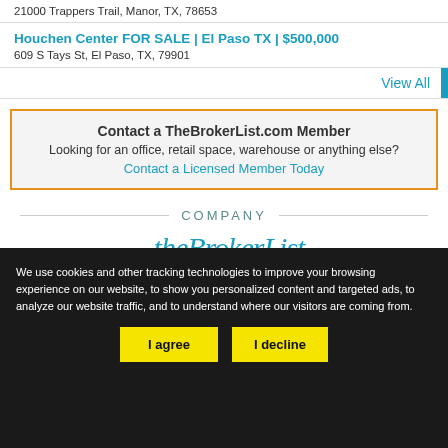21000 Trappers Trail, Manor, TX, 78653
Houchen Center FOR SALE | El Paso TX | $500,000
609 S Tays St, El Paso, TX, 79901
View All
Contact a TheBrokerList.com Member
Looking for an office, retail space, warehouse or anything else?
Contact a Licensed Member Today
COMPANY
theBrokerList
We use cookies and other tracking technologies to improve your browsing experience on our website, to show you personalized content and targeted ads, to analyze our website traffic, and to understand where our visitors are coming from.
I agree
I decline